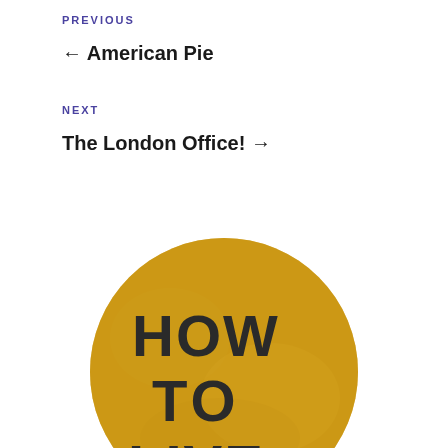PREVIOUS
← American Pie
NEXT
The London Office! →
[Figure (photo): A circular yellow/golden textured surface with dark stamped block letters reading 'HOW TO LIVE', partially cropped at the bottom of the page.]